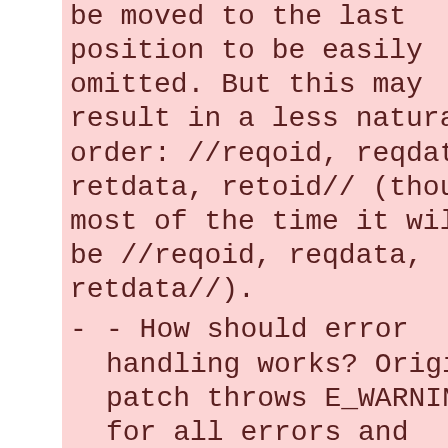be moved to the last position to be easily omitted. But this may result in a less natural order: //reqoid, reqdata, retdata, retoid// (though most of the time it will be //reqoid, reqdata, retdata//).
- How should error handling works? Original patch throws E_WARNING for all errors and failures, which seems a bad idea. Maybe filling the error so that error_get_last() gives the right information when a function of this